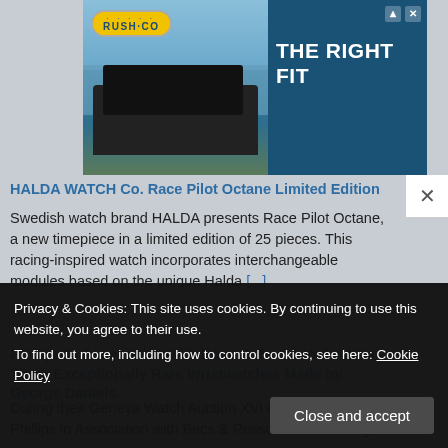[Figure (photo): Rush-Co advertisement banner showing a boat on water with the tagline THE RIGHT FIT and the Rush-Co logo]
HALDA WATCH Co. Race Pilot Octane Limited Edition
Swedish watch brand HALDA presents Race Pilot Octane, a new timepiece in a limited edition of 25 pieces. This racing-inspired watch incorporates interchangeable modules based on the unique Halda [...]
Phillips in Association with Bacs & Russo to Auction Three Exceptionally Rare Wristwatches Made by George Daniels
During their Geneva Watch Auction XVI on November 5-6, Phillips in Association with Bacs & Russo will be offering
Privacy & Cookies: This site uses cookies. By continuing to use this website, you agree to their use.
To find out more, including how to control cookies, see here: Cookie Policy
Close and accept